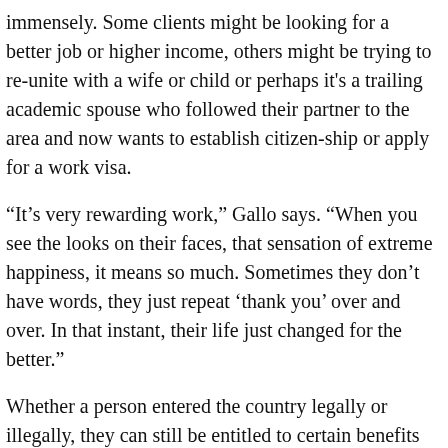immensely. Some clients might be looking for a better job or higher income, others might be trying to re-unite with a wife or child or perhaps it's a trailing academic spouse who followed their partner to the area and now wants to establish citizen-ship or apply for a work visa.
“It’s very rewarding work,” Gallo says. “When you see the looks on their faces, that sensation of extreme happiness, it means so much. Sometimes they don’t have words, they just repeat ‘thank you’ over and over. In that instant, their life just changed for the better.”
Whether a person entered the country legally or illegally, they can still be entitled to certain benefits under the law. The mission of the clinic is to help people who are already in the area — encompassing Tippecanoe and surrounding counties — get access to those benefits, regardless of their immigration status. It’s work that aligns with LUM’s overall mission as an organization with a Judeo-Christian heritage.